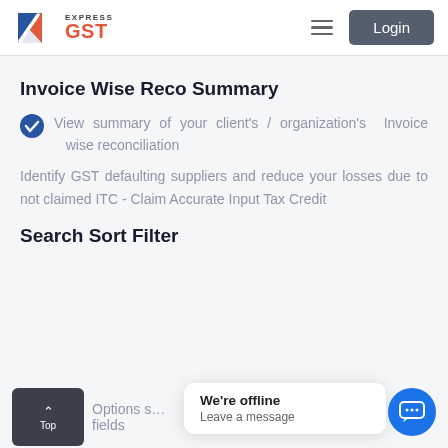[Figure (logo): Express GST logo with diagonal flag-like icon in blue and red, text 'EXPRESS' above 'GST' in orange-red]
Invoice Wise Reco Summary
View summary of your client's / organization's Invoice wise reconciliation
Identify GST defaulting suppliers and reduce your losses due to not claimed ITC - Claim Accurate Input Tax Credit
Search Sort Filter
Options si... fields
We're offline
Leave a message